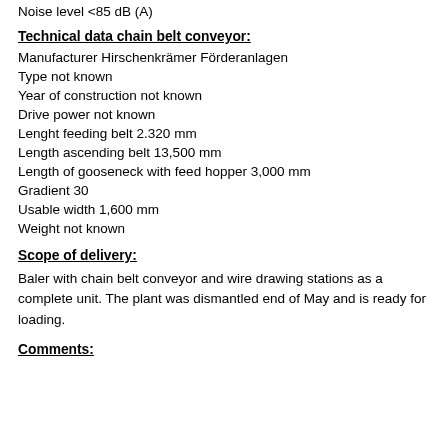Noise level <85 dB (A)
Technical data chain belt conveyor:
Manufacturer Hirschenkrämer Förderanlagen
Type not known
Year of construction not known
Drive power not known
Lenght feeding belt 2.320 mm
Length ascending belt 13,500 mm
Length of gooseneck with feed hopper 3,000 mm
Gradient 30
Usable width 1,600 mm
Weight not known
Scope of delivery:
Baler with chain belt conveyor and wire drawing stations as a complete unit. The plant was dismantled end of May and is ready for loading.
Comments: